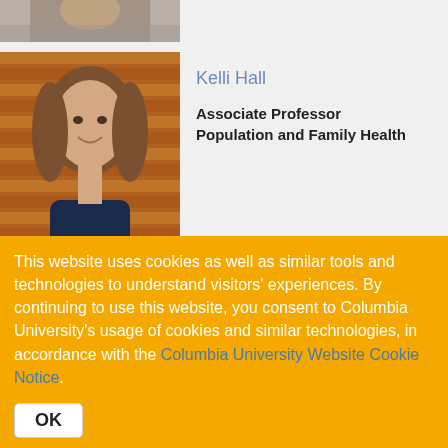[Figure (photo): Partial cropped photo of a person at top of page]
[Figure (photo): Photo of Kelli Hall, woman with long brown hair smiling, orange/wood background]
Kelli Hall
Associate Professor
Population and Family Health
[Figure (photo): Photo of Julie Herbstman, woman with curly dark hair, green outdoor background]
Julie Herbstman
Associate Professor
This website uses cookies as well as similar tools and technologies to understand visitors' experiences. By continuing to use this website, you consent to Columbia University's usage of cookies and similar technologies, in accordance with the Columbia University Website Cookie Notice.
OK